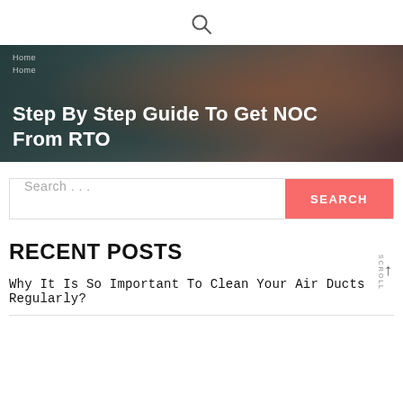[Figure (other): Search icon (magnifying glass) centered at top of page]
[Figure (photo): Hero banner image showing people in a car with overlay title text 'Step By Step Guide To Get NOC From RTO' and breadcrumb navigation above]
Step By Step Guide To Get NOC From RTO
Search ...
SEARCH
RECENT POSTS
Why It Is So Important To Clean Your Air Ducts Regularly?